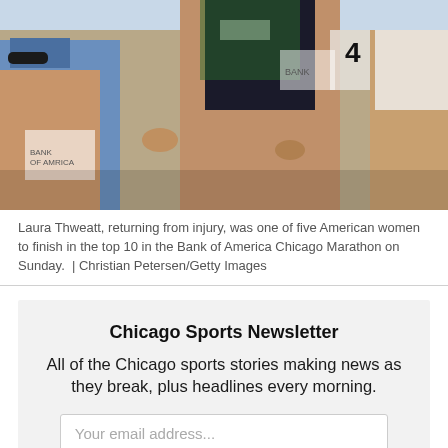[Figure (photo): Runners at the Bank of America Chicago Marathon, showing female athletes mid-race in athletic wear with race bibs]
Laura Thweatt, returning from injury, was one of five American women to finish in the top 10 in the Bank of America Chicago Marathon on Sunday.  | Christian Petersen/Getty Images
Chicago Sports Newsletter
All of the Chicago sports stories making news as they break, plus headlines every morning.
Your email address...